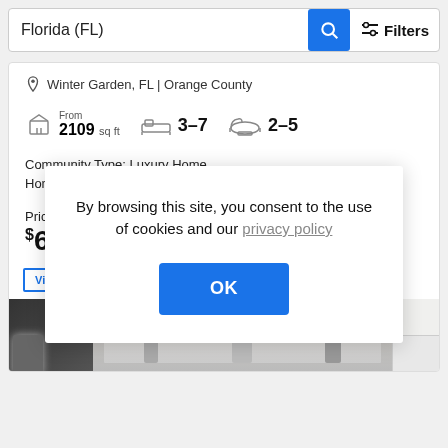Florida (FL)
Filters
Winter Garden, FL | Orange County
From 2109 sq ft
3–7
2–5
Community Type: Luxury Home
Home Type: Single Family
Priced From
$62
By browsing this site, you consent to the use of cookies and our privacy policy
OK